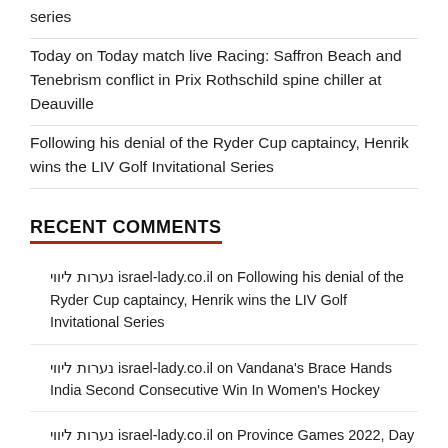series
Today on Today match live Racing: Saffron Beach and Tenebrism conflict in Prix Rothschild spine chiller at Deauville
Following his denial of the Ryder Cup captaincy, Henrik wins the LIV Golf Invitational Series
RECENT COMMENTS
נערות ליווי israel-lady.co.il on Following his denial of the Ryder Cup captaincy, Henrik wins the LIV Golf Invitational Series
נערות ליווי israel-lady.co.il on Vandana's Brace Hands India Second Consecutive Win In Women's Hockey
נערות ליווי israel-lady.co.il on Province Games 2022, Day 3:Full India Schedule